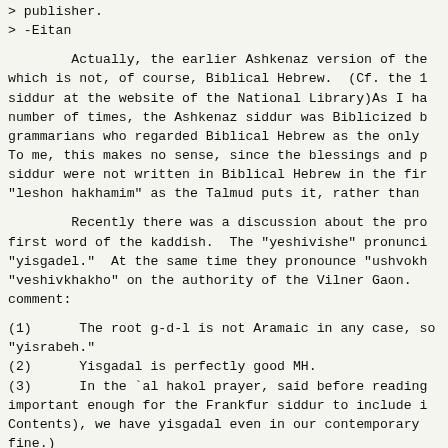> publisher.
> -Eitan
Actually, the earlier Ashkenaz version of the which is not, of course, Biblical Hebrew.  (Cf. the 1 siddur at the website of the National Library)As I ha number of times, the Ashkenaz siddur was Biblicized b grammarians who regarded Biblical Hebrew as the only To me, this makes no sense, since the blessings and p siddur were not written in Biblical Hebrew in the fir "leshon hakhamim" as the Talmud puts it, rather than
Recently there was a discussion about the pro first word of the kaddish.  The "yeshivishe" pronunci "yisgadel."  At the same time they pronounce "ushvokh "veshivkhakho" on the authority of the Vilner Gaon. comment:
(1)      The root g-d-l is not Aramaic in any case, so "yisrabeh."
(2)      Yisgadal is perfectly good MH.
(3)      In the `al hakol prayer, said before reading important enough for the Frankfur siddur to include i Contents), we have yisgadal even in our contemporary fine.)
(4)      ushvokhakho would appear to be good MH.. (You other variants in the Kaufmann.)
Thus